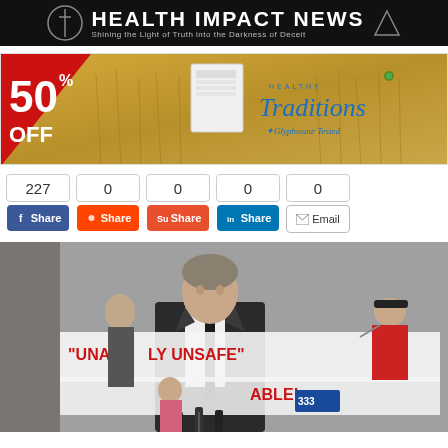HEALTH IMPACT NEWS — Shining the Light of Truth into the Darkness of Deceit
[Figure (infographic): Healthy Traditions advertisement banner: 50% OFF with wheat field background and bucket product image. Glyphosate Tested branding.]
[Figure (infographic): Social share buttons row: Facebook Share (227), Reddit Share (0), StumbleUpon Share (0), LinkedIn Share (0), Email (0)]
[Figure (photo): Man in dark suit and tie speaking at a press conference outdoors, with a banner behind reading 'UNANIMOUSLY UNSAFE' and 'ABLE!' held by protesters]